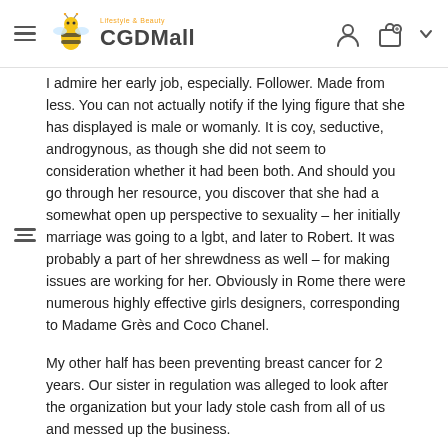CGDMall Lifestyle & Beauty
I admire her early job, especially. Follower. Made from less. You can not actually notify if the lying figure that she has displayed is male or womanly. It is coy, seductive, androgynous, as though she did not seem to consideration whether it had been both. And should you go through her resource, you discover that she had a somewhat open up perspective to sexuality – her initially marriage was going to a lgbt, and later to Robert. It was probably a part of her shrewdness as well – for making issues are working for her. Obviously in Rome there were numerous highly effective girls designers, corresponding to Madame Grès and Coco Chanel.
My other half has been preventing breast cancer for 2 years. Our sister in regulation was alleged to look after the organization but your lady stole cash from all of us and messed up the business.
I actually came out of the Josef Albers camp, the spot colour was extra sensational and fewer obvious than Delaunay. I tend